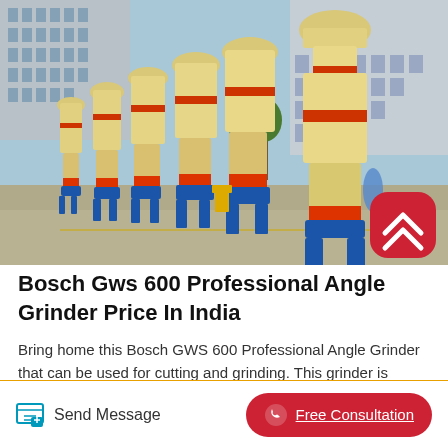[Figure (photo): Row of large yellow industrial grinding mill machines lined up outdoors in a factory yard with blue metal bases, red accent stripes, in front of industrial buildings with Chinese text signage]
Bosch Gws 600 Professional Angle Grinder Price In India
Bring home this Bosch GWS 600 Professional Angle Grinder that can be used for cutting and grinding. This grinder is powerful enough to cut through metal as it has a 670 W motor. It